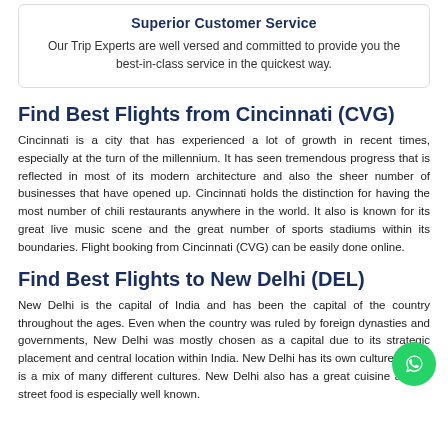Superior Customer Service
Our Trip Experts are well versed and committed to provide you the best-in-class service in the quickest way.
Find Best Flights from Cincinnati (CVG)
Cincinnati is a city that has experienced a lot of growth in recent times, especially at the turn of the millennium. It has seen tremendous progress that is reflected in most of its modern architecture and also the sheer number of businesses that have opened up. Cincinnati holds the distinction for having the most number of chili restaurants anywhere in the world. It also is known for its great live music scene and the great number of sports stadiums within its boundaries. Flight booking from Cincinnati (CVG) can be easily done online.
Find Best Flights to New Delhi (DEL)
New Delhi is the capital of India and has been the capital of the country throughout the ages. Even when the country was ruled by foreign dynasties and governments, New Delhi was mostly chosen as a capital due to its strategic placement and central location within India. New Delhi has its own culture, which is a mix of many different cultures. New Delhi also has a great cuisine and its street food is especially well known.
[Figure (other): WhatsApp contact button (green circular icon with phone/chat symbol)]